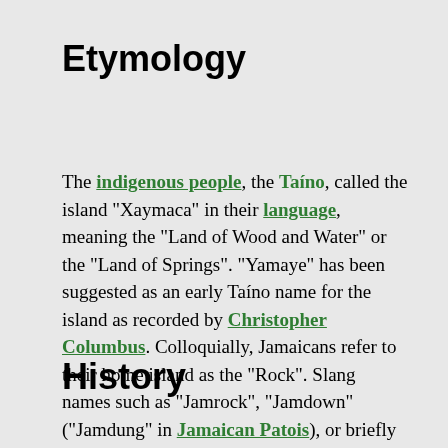Etymology
The indigenous people, the Taíno, called the island "Xaymaca" in their language, meaning the "Land of Wood and Water" or the "Land of Springs". "Yamaye" has been suggested as an early Taíno name for the island as recorded by Christopher Columbus. Colloquially, Jamaicans refer to their home island as the "Rock". Slang names such as "Jamrock", "Jamdown" ("Jamdung" in Jamaican Patois), or briefly "Ja", have derived from this.
History